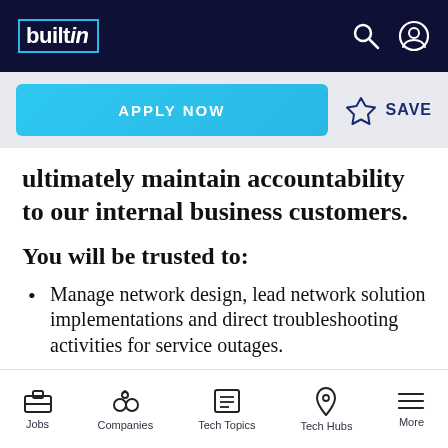builtin
APPLY NOW
SAVE
ultimately maintain accountability to our internal business customers.
You will be trusted to:
Manage network design, lead network solution implementations and direct troubleshooting activities for service outages.
Maintain and optimize network services to increase stability, maximize availability and control costs while maintain PCI compliance
Jobs  Companies  Tech Topics  Tech Hubs  More